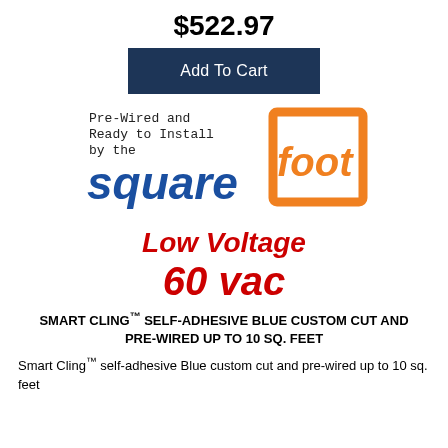$522.97
Add To Cart
[Figure (logo): Square Foot logo with text 'Pre-Wired and Ready to Install by the squarefoot' — 'square' in blue bold italic, 'foot' in white on orange square bracket graphic]
Low Voltage
60 vac
SMART CLING™ SELF-ADHESIVE BLUE CUSTOM CUT AND PRE-WIRED UP TO 10 SQ. FEET
Smart Cling™ self-adhesive Blue custom cut and pre-wired up to 10 sq. feet